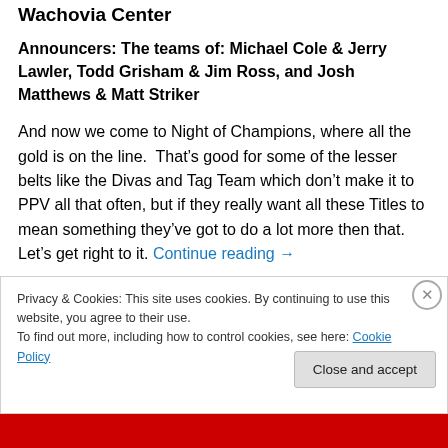Wachovia Center
Announcers: The teams of: Michael Cole & Jerry Lawler, Todd Grisham & Jim Ross, and Josh Matthews & Matt Striker
And now we come to Night of Champions, where all the gold is on the line. That’s good for some of the lesser belts like the Divas and Tag Team which don’t make it to PPV all that often, but if they really want all these Titles to mean something they’ve got to do a lot more then that. Let’s get right to it. Continue reading →
Privacy & Cookies: This site uses cookies. By continuing to use this website, you agree to their use.
To find out more, including how to control cookies, see here: Cookie Policy
Close and accept